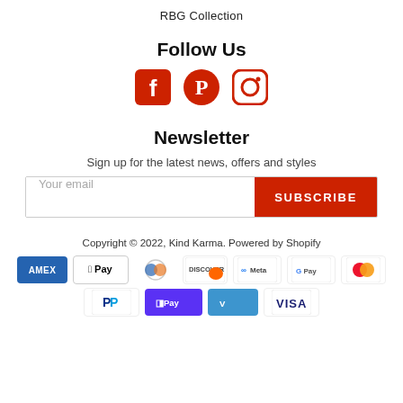RBG Collection
Follow Us
[Figure (other): Social media icons: Facebook, Pinterest, Instagram in orange/red color]
Newsletter
Sign up for the latest news, offers and styles
Your email | SUBSCRIBE
Copyright © 2022, Kind Karma. Powered by Shopify
[Figure (other): Payment method icons: American Express, Apple Pay, Diners Club, Discover, Meta Pay, Google Pay, Mastercard, PayPal, Shop Pay, Venmo, Visa]